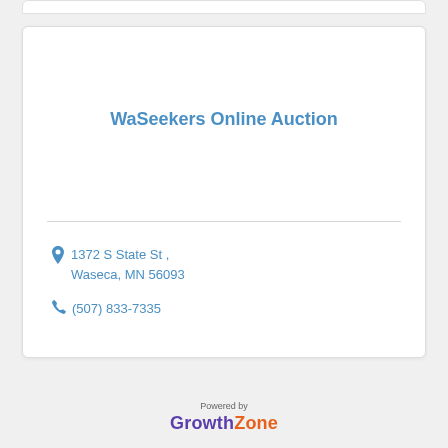WaSeekers Online Auction
1372 S State St , Waseca, MN 56093
(507) 833-7335
Powered by GrowthZone